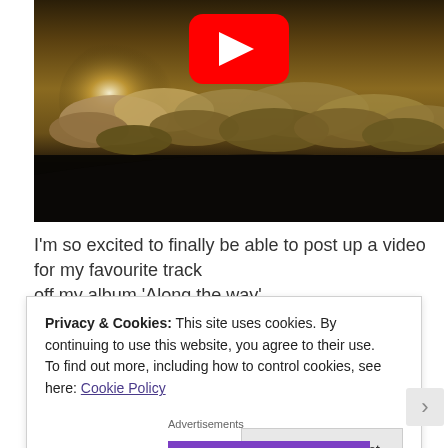[Figure (screenshot): YouTube video thumbnail showing aerial view above clouds with sunlight breaking through, with a red YouTube play button overlay at the top center]
I'm so excited to finally be able to post up a video for my favourite track off my album 'Along the way'
Privacy & Cookies: This site uses cookies. By continuing to use this website, you agree to their use.
To find out more, including how to control cookies, see here: Cookie Policy
Close and accept
Advertisements